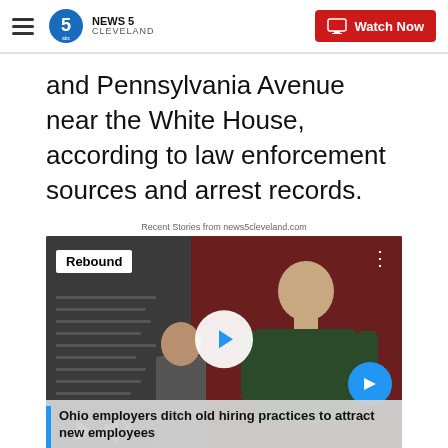NEWS 5 CLEVELAND | Watch Now
and Pennsylvania Avenue near the White House, according to law enforcement sources and arrest records.
Recent Stories from news5cleveland.com
[Figure (screenshot): Video thumbnail showing a man at a job fair with 'Rebound' badge overlay. Caption reads: Ohio employers ditch old hiring practices to attract new employees]
Ohio employers ditch old hiring practices to attract new employees